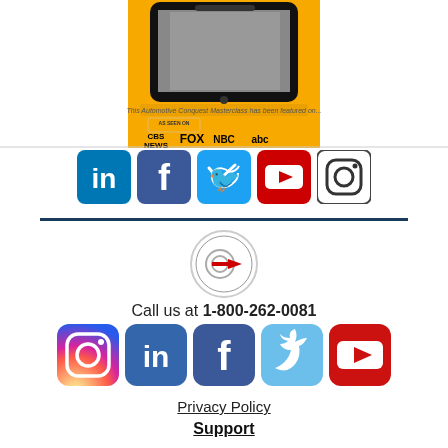[Figure (illustration): Partial view of an automotive course ad with tablet device and media logos (CBS News, FOX, NBC, ABC) on orange background]
[Figure (illustration): Row of social media icons: LinkedIn, Facebook, Twitter, YouTube, Instagram]
[Figure (logo): Automotive conquest masterclass circular logo with arrow]
Call us at 1-800-262-0081
[Figure (illustration): Row of social media icons: Instagram, LinkedIn, Facebook, Twitter, YouTube]
Privacy Policy
Support